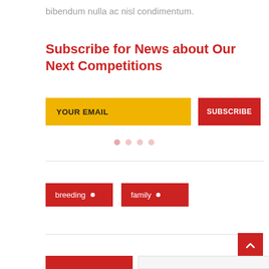bibendum nulla ac nisl condimentum.
Subscribe for News about Our Next Competitions
[Figure (screenshot): Email subscription form with yellow input field labeled YOUR EMAIL and red SUBSCRIBE button]
[Figure (infographic): Row of pagination dots]
breeding
family